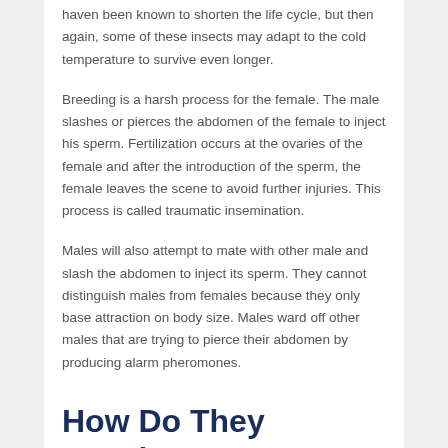haven been known to shorten the life cycle, but then again, some of these insects may adapt to the cold temperature to survive even longer.
Breeding is a harsh process for the female. The male slashes or pierces the abdomen of the female to inject his sperm. Fertilization occurs at the ovaries of the female and after the introduction of the sperm, the female leaves the scene to avoid further injuries. This process is called traumatic insemination.
Males will also attempt to mate with other male and slash the abdomen to inject its sperm. They cannot distinguish males from females because they only base attraction on body size. Males ward off other males that are trying to pierce their abdomen by producing alarm pheromones.
How Do They Develop?